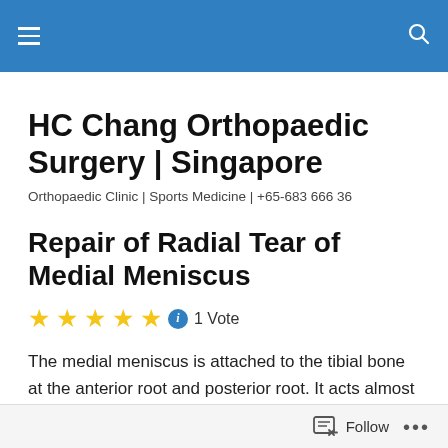HC Chang Orthopaedic Surgery | Singapore
HC Chang Orthopaedic Surgery | Singapore
Orthopaedic Clinic | Sports Medicine | +65-683 666 36
Repair of Radial Tear of Medial Meniscus
★★★★★ ℹ 1 Vote
The medial meniscus is attached to the tibial bone at the anterior root and posterior root. It acts almost like a
Follow ...